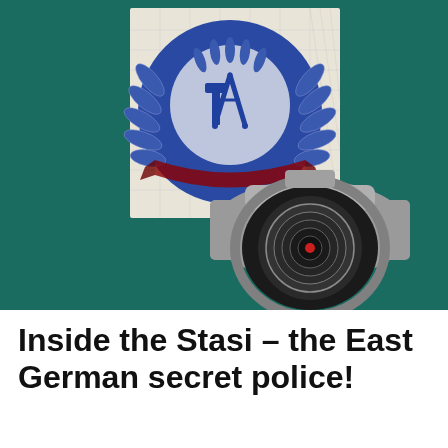[Figure (illustration): Illustration showing East German state emblem (DDR coat of arms with hammer and compass in wheat wreath) overlaid on a banknote pattern, with a grey security/surveillance dome camera in the foreground, all on a dark teal/green background.]
Inside the Stasi – the East German secret police!